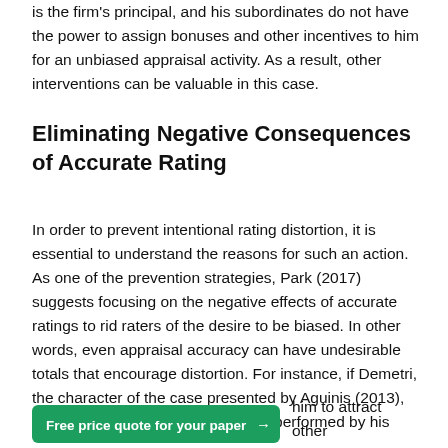is the firm's principal, and his subordinates do not have the power to assign bonuses and other incentives to him for an unbiased appraisal activity. As a result, other interventions can be valuable in this case.
Eliminating Negative Consequences of Accurate Rating
In order to prevent intentional rating distortion, it is essential to understand the reasons for such an action. As one of the prevention strategies, Park (2017) suggests focusing on the negative effects of accurate ratings to rid raters of the desire to be biased. In other words, even appraisal accuracy can have undesirable totals that encourage distortion. For instance, if Demetri, the character of the case presented by Aguinis (2013), faced stable low production results performed by his
him to attract other